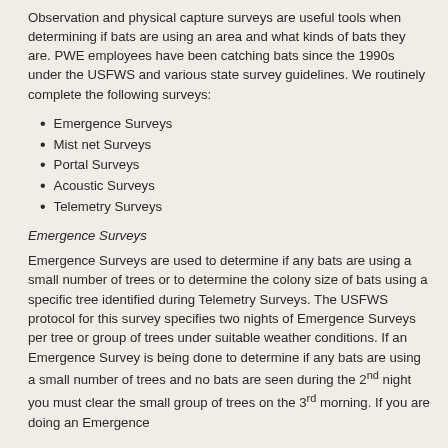Observation and physical capture surveys are useful tools when determining if bats are using an area and what kinds of bats they are. PWE employees have been catching bats since the 1990s under the USFWS and various state survey guidelines. We routinely complete the following surveys:
Emergence Surveys
Mist net Surveys
Portal Surveys
Acoustic Surveys
Telemetry Surveys
Emergence Surveys
Emergence Surveys are used to determine if any bats are using a small number of trees or to determine the colony size of bats using a specific tree identified during Telemetry Surveys. The USFWS protocol for this survey specifies two nights of Emergence Surveys per tree or group of trees under suitable weather conditions. If an Emergence Survey is being done to determine if any bats are using a small number of trees and no bats are seen during the 2nd night you must clear the small group of trees on the 3rd morning. If you are doing an Emergence Survey to determine the colony size of bats using a tree, If